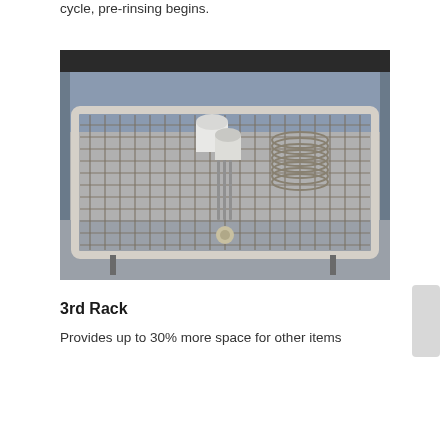cycle, pre-rinsing begins.
[Figure (photo): A dishwasher third rack pulled out showing the metal wire rack tray with cups, glasses, and utensils loaded inside the open dishwasher.]
3rd Rack
Provides up to 30% more space for other items